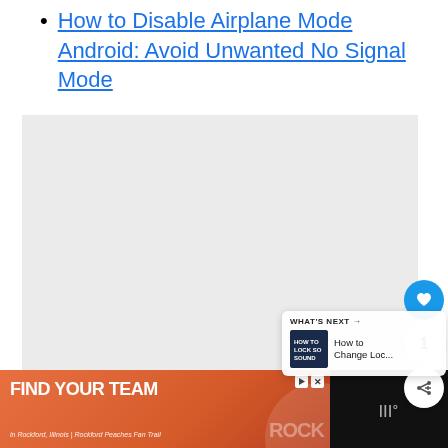How to Disable Airplane Mode Android: Avoid Unwanted No Signal Mode
[Figure (screenshot): Embedded video player area showing a light gray background placeholder]
[Figure (infographic): Social interaction buttons: heart/like button (blue circle), count showing 1, and share button]
[Figure (screenshot): What's Next panel showing a thumbnail and text 'How to Change Loc...']
[Figure (screenshot): Advertisement banner: FIND YOUR TEAM in Rockford, Illinois | Rockford Peaches Fan Trail, with a person and ROCK text visible]